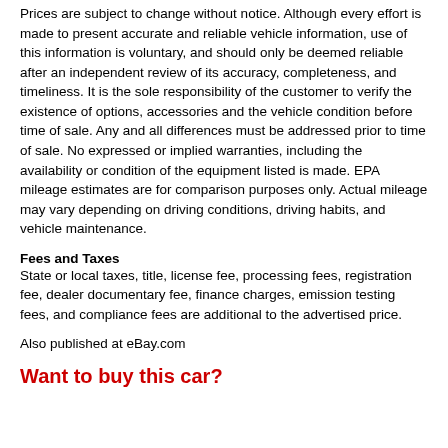Prices are subject to change without notice. Although every effort is made to present accurate and reliable vehicle information, use of this information is voluntary, and should only be deemed reliable after an independent review of its accuracy, completeness, and timeliness. It is the sole responsibility of the customer to verify the existence of options, accessories and the vehicle condition before time of sale. Any and all differences must be addressed prior to time of sale. No expressed or implied warranties, including the availability or condition of the equipment listed is made. EPA mileage estimates are for comparison purposes only. Actual mileage may vary depending on driving conditions, driving habits, and vehicle maintenance.
Fees and Taxes
State or local taxes, title, license fee, processing fees, registration fee, dealer documentary fee, finance charges, emission testing fees, and compliance fees are additional to the advertised price.
Also published at eBay.com
Want to buy this car?